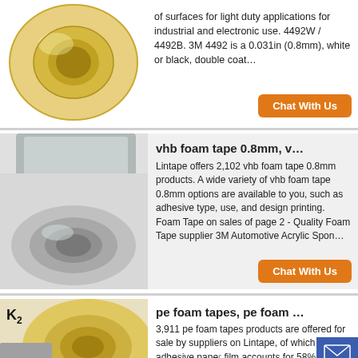[Figure (photo): Roll of yellow/cream double-coated tape (partial view, top of page)]
of surfaces for light duty applications for industrial and electronic use. 4492W / 4492B. 3M 4492 is a 0.031in (0.8mm), white or black, double coat…
Chat With Us
[Figure (photo): Roll of silver/metallic tape with another tape roll partially visible]
vhb foam tape 0.8mm, v…
Lintape offers 2,102 vhb foam tape 0.8mm products. A wide variety of vhb foam tape 0.8mm options are available to you, such as adhesive type, use, and design printing. Foam Tape on sales of page 2 - Quality Foam Tape supplier 3M Automotive Acrylic Spon…
Chat With Us
[Figure (photo): Roll of yellow/cream foam tape with K2 logo label visible]
pe foam tapes, pe foam …
3,911 pe foam tapes products are offered for sale by suppliers on Lintape, of which adhesive paper film accounts for 58%, office adhe…